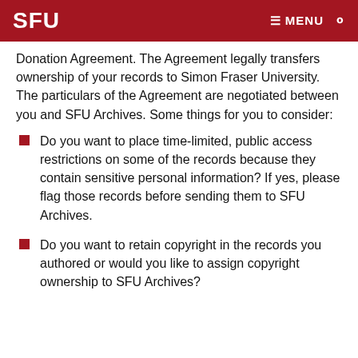SFU  ≡ MENU 🔍
Donation Agreement. The Agreement legally transfers ownership of your records to Simon Fraser University. The particulars of the Agreement are negotiated between you and SFU Archives. Some things for you to consider:
Do you want to place time-limited, public access restrictions on some of the records because they contain sensitive personal information? If yes, please flag those records before sending them to SFU Archives.
Do you want to retain copyright in the records you authored or would you like to assign copyright ownership to SFU Archives?